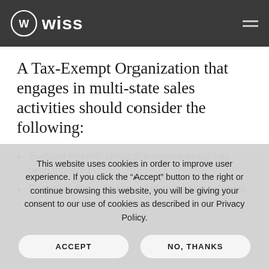Wiss
A Tax-Exempt Organization that engages in multi-state sales activities should consider the following:
Evaluate whether physical presence nexus has been triggered.
Determine the availability of state-specific sales tax…
This website uses cookies in order to improve user experience. If you click the “Accept” button to the right or continue browsing this website, you will be giving your consent to our use of cookies as described in our Privacy Policy.
ACCEPT | NO, THANKS